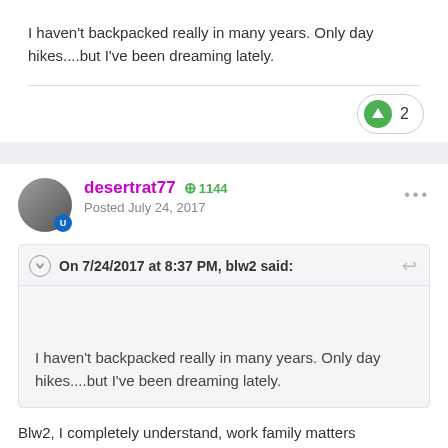I haven't backpacked really in many years.  Only day hikes....but I've been dreaming lately.
2
desertrat77  +1144  Posted July 24, 2017
On 7/24/2017 at 8:37 PM, blw2 said:
I haven't backpacked really in many years.  Only day hikes....but I've been dreaming lately.
Blw2, I completely understand, work family matters